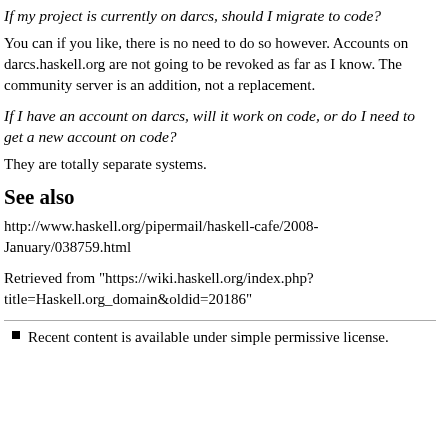If my project is currently on darcs, should I migrate to code?
You can if you like, there is no need to do so however. Accounts on darcs.haskell.org are not going to be revoked as far as I know. The community server is an addition, not a replacement.
If I have an account on darcs, will it work on code, or do I need to get a new account on code?
They are totally separate systems.
See also
http://www.haskell.org/pipermail/haskell-cafe/2008-January/038759.html
Retrieved from "https://wiki.haskell.org/index.php?title=Haskell.org_domain&oldid=20186"
Recent content is available under simple permissive license.